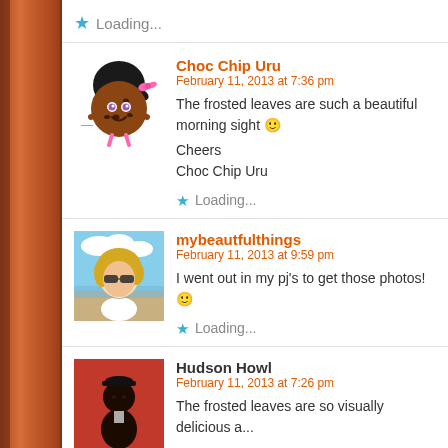Loading...
Choc Chip Uru
February 11, 2013 at 7:36 pm
The frosted leaves are such a beautiful morning sight 🙂
Cheers
Choc Chip Uru
Loading...
mybeautfulthings
February 11, 2013 at 9:59 pm
I went out in my pj's to get those photos! 🙂
Loading...
Hudson Howl
February 11, 2013 at 7:26 pm